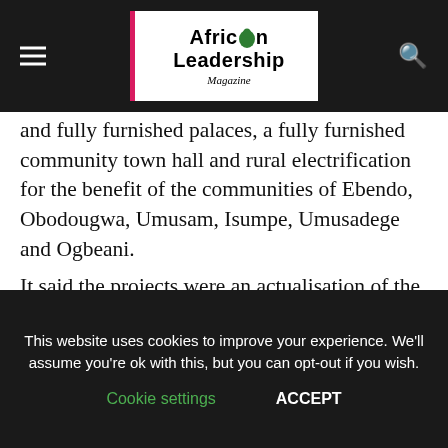African Leadership Magazine
and fully furnished palaces, a fully furnished community town hall and rural electrification for the benefit of the communities of Ebendo, Obodougwa, Umusam, Isumpe, Umusadege and Ogbeani.
It said the projects were an actualisation of the promises made by the Joint venture in an agreed Memorandum of Understanding with the host communities for the exploration and operations of the Ebendo/Obodeti oil field.
This website uses cookies to improve your experience. We'll assume you're ok with this, but you can opt-out if you wish. Cookie settings ACCEPT